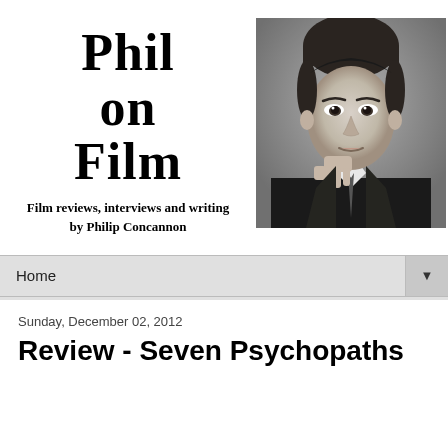Phil on Film
Film reviews, interviews and writing by Philip Concannon
[Figure (photo): Black and white portrait photograph of a young man in a suit, resting his hand near his chin in a thoughtful pose]
Home
Sunday, December 02, 2012
Review - Seven Psychopaths